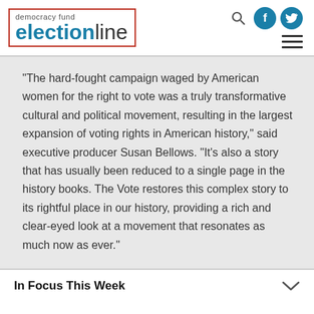democracy fund electionline
“The hard-fought campaign waged by American women for the right to vote was a truly transformative cultural and political movement, resulting in the largest expansion of voting rights in American history,” said executive producer Susan Bellows. “It’s also a story that has usually been reduced to a single page in the history books. The Vote restores this complex story to its rightful place in our history, providing a rich and clear-eyed look at a movement that resonates as much now as ever.”
In Focus This Week